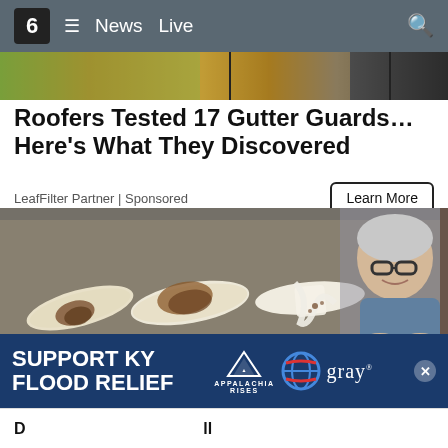6 ≡ News Live 🔍
[Figure (photo): Horizontal strip showing partial carousel images of food/objects]
Roofers Tested 17 Gutter Guards… Here's What They Discovered
LeafFilter Partner | Sponsored
[Figure (photo): Photo of fish fillets on a dark tray with spices, and an older man with gray hair and glasses in a blue shirt, arms crossed, smiling. Overlay ad banner at bottom reads SUPPORT KY FLOOD RELIEF with Appalachia Rises and gray TV logos.]
SUPPORT KY FLOOD RELIEF
APPALACHIA RISES
gray